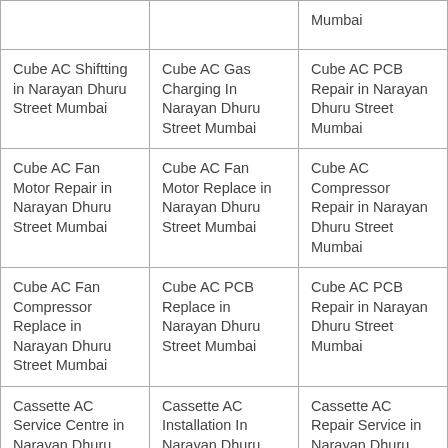| Mumbai |  |  |
| Cube AC Shiftting in Narayan Dhuru Street Mumbai | Cube AC Gas Charging In Narayan Dhuru Street Mumbai | Cube AC PCB Repair in Narayan Dhuru Street Mumbai |
| Cube AC Fan Motor Repair in Narayan Dhuru Street Mumbai | Cube AC Fan Motor Replace in Narayan Dhuru Street Mumbai | Cube AC Compressor Repair in Narayan Dhuru Street Mumbai |
| Cube AC Fan Compressor Replace in Narayan Dhuru Street Mumbai | Cube AC PCB Replace in Narayan Dhuru Street Mumbai | Cube AC PCB Repair in Narayan Dhuru Street Mumbai |
| Cassette AC Service Centre in Narayan Dhuru Street Mumbai | Cassette AC Installation In Narayan Dhuru Street Mumbai | Cassette AC Repair Service in Narayan Dhuru Street Mumbai |